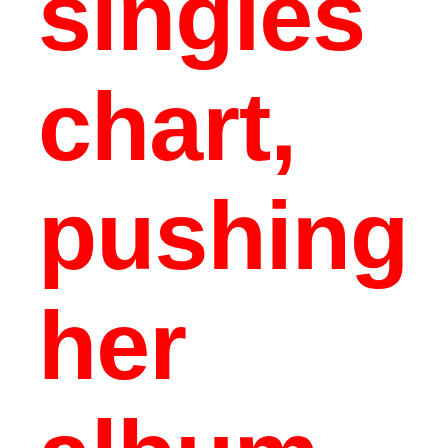singles chart, pushing her album back to #1. The